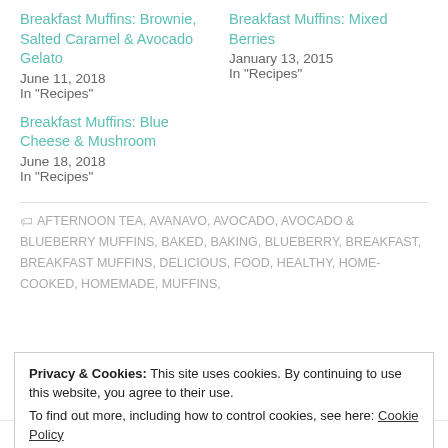Breakfast Muffins: Brownie, Salted Caramel & Avocado Gelato
June 11, 2018
In "Recipes"
Breakfast Muffins: Mixed Berries
January 13, 2015
In "Recipes"
Breakfast Muffins: Blue Cheese & Mushroom
June 18, 2018
In "Recipes"
AFTERNOON TEA, AVANAVO, AVOCADO, AVOCADO & BLUEBERRY MUFFINS, BAKED, BAKING, BLUEBERRY, BREAKFAST, BREAKFAST MUFFINS, DELICIOUS, FOOD, HEALTHY, HOME-COOKED, HOMEMADE, MUFFINS,
Privacy & Cookies: This site uses cookies. By continuing to use this website, you agree to their use.
To find out more, including how to control cookies, see here: Cookie Policy
Close and accept
PREVIOUS POST